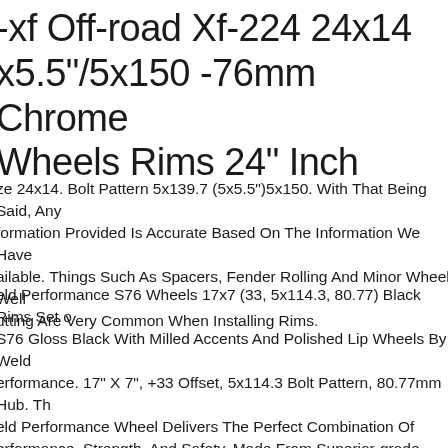-xf Off-road Xf-224 24x14 x5.5"/5x150 -76mm Chrome Wheels Rims 24" Inch
ze 24x14. Bolt Pattern 5x139.7 (5x5.5")5x150. With That Being Said, Any formation Provided Is Accurate Based On The Information We Have ailable. Things Such As Spacers, Fender Rolling And Minor Wheel Well utting Are Very Common When Installing Rims.
eld Performance S76 Wheels 17x7 (33, 5x114.3, 80.77) Black Rims Set S76 Gloss Black With Milled Accents And Polished Lip Wheels By Weld erformance. 17" X 7", +33 Offset, 5x114.3 Bolt Pattern, 80.77mm Hub. Th eld Performance Wheel Delivers The Perfect Combination Of erformance, Strength, And Safety. Made From Superior-grade Aluminum oy Using State-of-the-art Manufacturing Technology, This Hardcore Whe ovides Impeccable Durability And Light Weight To Enhance Your Off-road iving Experience. Its Available In A Variety Of Sizes To Ensure The Perfe t For Your Vehicle. The Cutting-edge Design Is Perfectly Complemented B Sleek Finish, Creating A Jaw-dropping Look.